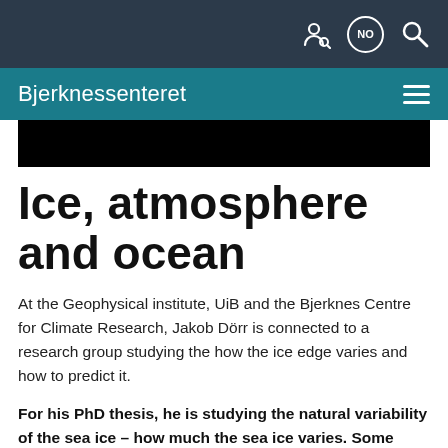NO
Bjerknessenteret
[Figure (photo): Dark/black hero image banner]
Ice, atmosphere and ocean
At the Geophysical institute, UiB and the Bjerknes Centre for Climate Research, Jakob Dörr is connected to a research group studying the how the ice edge varies and how to predict it.
For his PhD thesis, he is studying the natural variability of the sea ice – how much the sea ice varies. Some years, the sea ice disappears